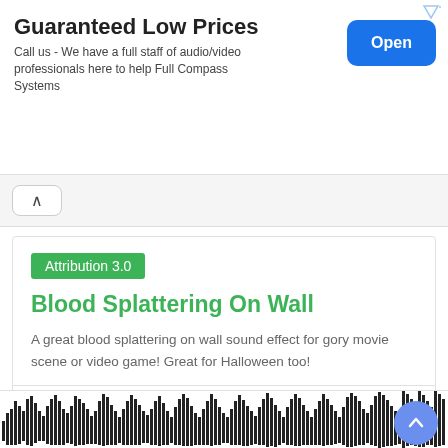[Figure (screenshot): Ad banner: Guaranteed Low Prices - Full Compass Systems with Open button]
Guaranteed Low Prices
Call us - We have a full staff of audio/video professionals here to help Full Compass Systems
Attribution 3.0
Blood Splattering On Wall
A great blood splattering on wall sound effect for gory movie scene or video game! Great for Halloween too!
Mike Koenig  42326  4/5
[Figure (other): Audio waveform visualization at the bottom of the page]